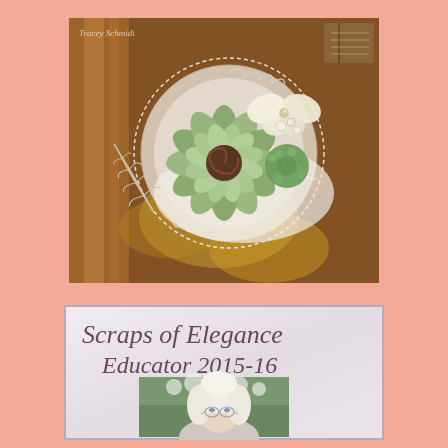[Figure (photo): Close-up photo of a handmade craft/scrapbook piece featuring a lace doily, layered paper flowers in cream and green, a brown spiral center flower, feather embellishment, and copper/gold textured background]
[Figure (photo): Scraps of Elegance Educator 2015-16 badge/card with cursive script text and a portrait photo of an older woman with white/blonde hair and glasses]